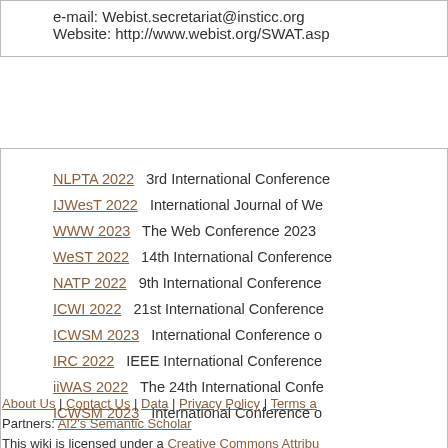e-mail: Webist.secretariat@insticc.org
Website: http://www.webist.org/SWAT.asp
NLPTA 2022   3rd International Conference
IJWesT 2022   International Journal of We
WWW 2023   The Web Conference 2023
WeST 2022   14th International Conference
NATP 2022   9th International Conference
ICWI 2022   21st International Conference
ICWSM 2023   International Conference o
IRC 2022   IEEE International Conference
iiWAS 2022   The 24th International Confe
ICWSM 2023   International Conference o
About Us | Contact Us | Data | Privacy Policy | Terms a... Partners: AI2's Semantic Scholar This wiki is licensed under a Creative Commons Attribu...